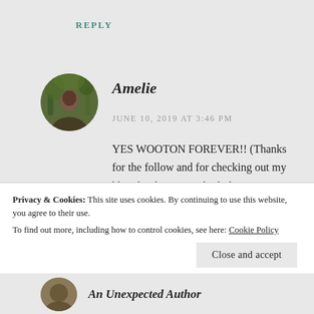REPLY
[Figure (photo): Circular avatar photo of a person sitting outdoors among trees]
Amelie
JUNE 10, 2019 AT 3:46 PM
YES WOOTON FOREVER!! (Thanks for the follow and for checking out my blog, by the way! I think that yours is fantastic! 🙂 )
Privacy & Cookies: This site uses cookies. By continuing to use this website, you agree to their use.
To find out more, including how to control cookies, see here: Cookie Policy
Close and accept
[Figure (photo): Partially visible circular avatar of another commenter at the bottom of the page]
An Unexpected Author